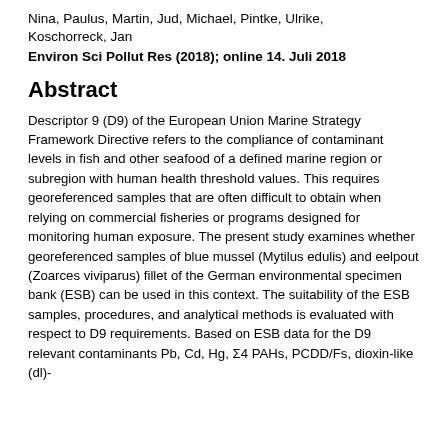Nina, Paulus, Martin, Jud, Michael, Pintke, Ulrike, Koschorreck, Jan
Environ Sci Pollut Res (2018); online 14. Juli 2018
Abstract
Descriptor 9 (D9) of the European Union Marine Strategy Framework Directive refers to the compliance of contaminant levels in fish and other seafood of a defined marine region or subregion with human health threshold values. This requires georeferenced samples that are often difficult to obtain when relying on commercial fisheries or programs designed for monitoring human exposure. The present study examines whether georeferenced samples of blue mussel (Mytilus edulis) and eelpout (Zoarces viviparus) fillet of the German environmental specimen bank (ESB) can be used in this context. The suitability of the ESB samples, procedures, and analytical methods is evaluated with respect to D9 requirements. Based on ESB data for the D9 relevant contaminants Pb, Cd, Hg, Σ4 PAHs, PCDD/Fs, dioxin-like (dl)-